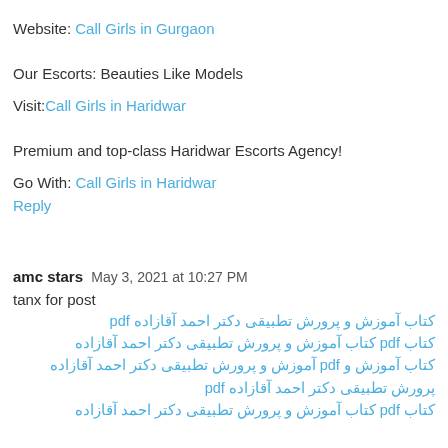Website: Call Girls in Gurgaon
Our Escorts: Beauties Like Models
Visit: Call Girls in Haridwar
Premium and top-class Haridwar Escorts Agency!
Go With: Call Girls in Haridwar
Reply
amc stars  May 3, 2021 at 10:27 PM
tanx for post
كتاب آموزش و پرورش تطبيقى دكتر احمد آقازاده pdf
كتاب pdf كتاب آموزش و پرورش تطبيقى دكتر احمد آقازاده
كتاب آموزش و pdf آموزش و پرورش تطبيقى دكتر احمد آقازاده
پرورش تطبيقى دكتر احمد آقازاده pdf
كتاب pdf كتاب آموزش و پرورش تطبيقى دكتر احمد آقازاده